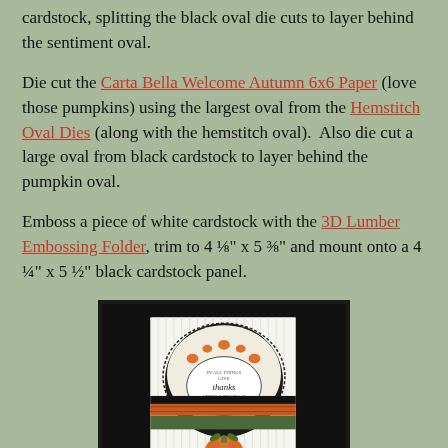cardstock, splitting the black oval die cuts to layer behind the sentiment oval.
Die cut the Carta Bella Welcome Autumn 6x6 Paper (love those pumpkins) using the largest oval from the Hemstitch Oval Dies (along with the hemstitch oval). Also die cut a large oval from black cardstock to layer behind the pumpkin oval.
Emboss a piece of white cardstock with the 3D Lumber Embossing Folder, trim to 4 ⅛" x 5 ⅜" and mount onto a 4 ¼" x 5 ½" black cardstock panel.
[Figure (photo): A handmade autumn/fall greeting card displayed on a black background. The card features an embossed white vertical-stripe background, a pumpkin-print oval from Carta Bella Welcome Autumn paper with hemstitch oval layered on black oval, and a white sentiment oval in the center reading 'IN ALL THINGS GIVE thanks 1 THESSALONIANS 5:18'. A decorated pumpkin with leaves is at the bottom of the card. Orange plaid and green patterned paper strips are layered across the card.]